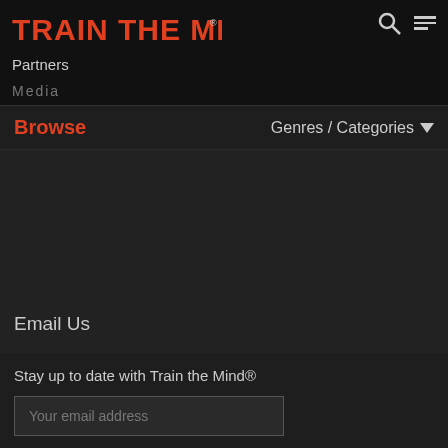[Figure (logo): Train The Mind logo in red bold text with registered trademark symbol]
Partners
Media
Browse
Genres / Categories
Email Us
Coaches' Guide
Stay up to date with Train the Mind®
Your email address